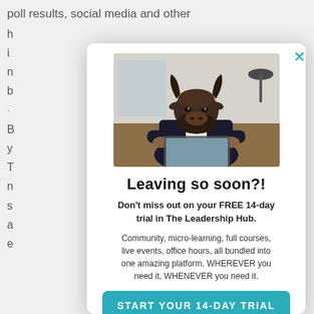poll results, social media and other
[Figure (photo): Person wearing a buffalo/bison head mask sitting at a desk working on a laptop computer, wearing a dark suit jacket and white shirt, in an office setting]
Leaving so soon?!
Don't miss out on your FREE 14-day trial in The Leadership Hub.
Community, micro-learning, full courses, live events, office hours, all bundled into one amazing platform, WHEREVER you need it, WHENEVER you need it.
START YOUR 14-DAY TRIAL